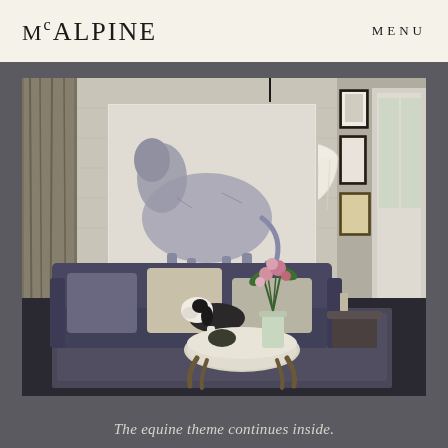McALPINE  MENU
[Figure (photo): Interior living room with a large equine painting of a white horse on canvas leaning against the wall, a white paper globe pendant lamp, a dark navy/grey sofa with cushions and a black and white dog resting on it, a round marble-topped coffee table with a vase of pink flowers and greenery, framed artwork gallery wall on the right, sheer curtains on the left, and a grey/purple area rug.]
The equine theme continues inside.